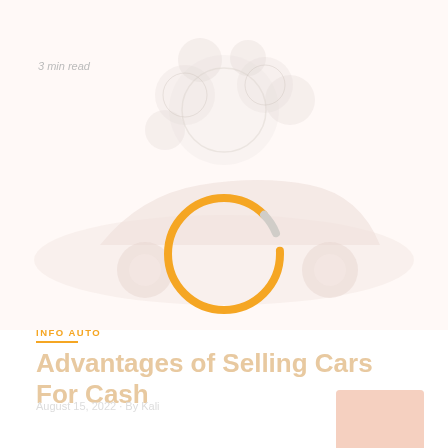[Figure (illustration): Faded hero image of a car with engine/gear bubbles above it, and a circular orange progress/spinner ring overlaid in the center]
3 min read
INFO AUTO
Advantages of Selling Cars For Cash
August 15, 2022 · By Kali
[Figure (photo): Small thumbnail image, faded pinkish-orange tones]